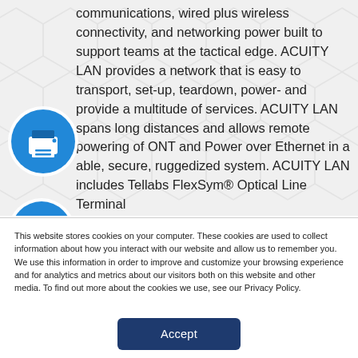communications, wired plus wireless connectivity, and networking power built to support teams at the tactical edge. ACUITY LAN provides a network that is easy to transport, set-up, teardown, power- and provide a multitude of services. ACUITY LAN spans long distances and allows remote powering of ONT and Power over Ethernet in a able, secure, ruggedized system. ACUITY LAN includes Tellabs FlexSym® Optical Line Terminal
[Figure (illustration): Blue circular icon with white printer/device symbol]
[Figure (illustration): Blue circular icon with white cloud and download arrow symbol]
[Figure (illustration): Blue circular accessibility icon with person symbol]
This website stores cookies on your computer. These cookies are used to collect information about how you interact with our website and allow us to remember you. We use this information in order to improve and customize your browsing experience and for analytics and metrics about our visitors both on this website and other media. To find out more about the cookies we use, see our Privacy Policy.